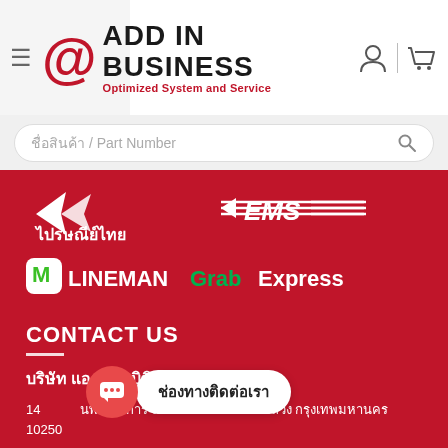@ ADD IN BUSINESS – Optimized System and Service
ชื่อสินค้า / Part Number
[Figure (logo): ไปรษณีย์ไทย and EMS logos]
[Figure (logo): LINE MAN and GrabExpress logos]
CONTACT US
บริษัท แอด อิน บิซิเนส จำกัด
14 ช่องทางติดต่อเรา นพัฒนาการ แขวง สวน เขตสวนหลวง กรุงเทพมหานคร 10250